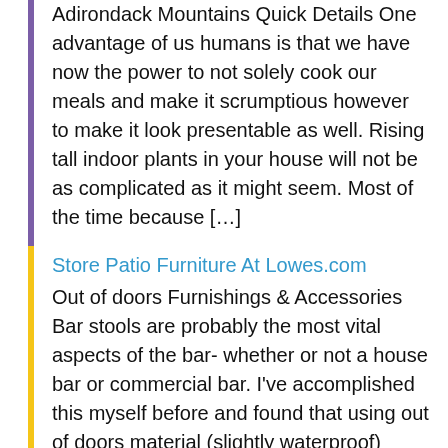Adirondack Mountains Quick Details One advantage of us humans is that we have now the power to not solely cook our meals and make it scrumptious however to make it look presentable as well. Rising tall indoor plants in your house will not be as complicated as it might seem. Most of the time because […]
Store Patio Furniture At Lowes.com
Out of doors Furnishings & Accessories Bar stools are probably the most vital aspects of the bar- whether or not a house bar or commercial bar. I've accomplished this myself before and found that using out of doors material (slightly waterproof) seems to assist in opposition to spills. The ability to decide on specific items […]
All Bedroom Furnishings
Purchase And Promote Furnishings In Calgary The